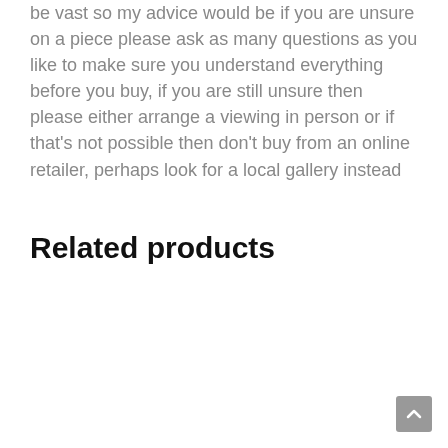be vast so my advice would be if you are unsure on a piece please ask as many questions as you like to make sure you understand everything before you buy, if you are still unsure then please either arrange a viewing in person or if that's not possible then don't buy from an online retailer, perhaps look for a local gallery instead
Related products